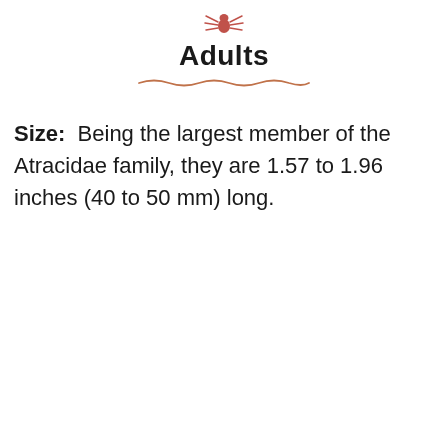[Figure (illustration): Small reddish-brown spider icon above the word Adults]
Adults
Size:  Being the largest member of the Atracidae family, they are 1.57 to 1.96 inches (40 to 50 mm) long.